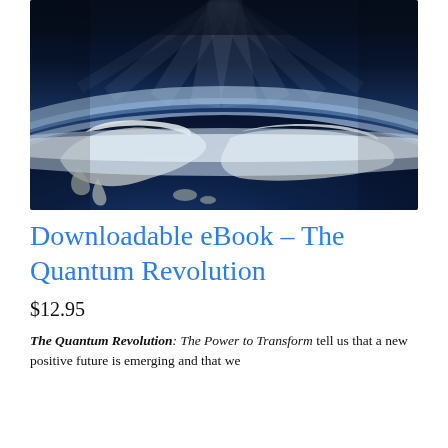[Figure (photo): Aerial/satellite view of Earth from space showing a continent with blue ocean, white clouds and atmosphere glowing at the edge with rays of light from the top]
Downloadable eBook – The Quantum Revolution
$12.95
The Quantum Revolution: The Power to Transform tell us that a new positive future is emerging and that we